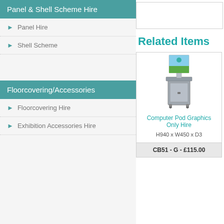Panel & Shell Scheme Hire
Panel Hire
Shell Scheme
Floorcovering/Accessories
Floorcovering Hire
Exhibition Accessories Hire
Related Items
[Figure (photo): Computer Pod with graphics panel on top, grey cabinet below]
Computer Pod Graphics Only Hire
H940 x W450 x D3
CB51 - G - £115.00
Comput...
H2000...
CB5...
[Figure (photo): Blue and white display board, bottom portion visible]
Registrat...